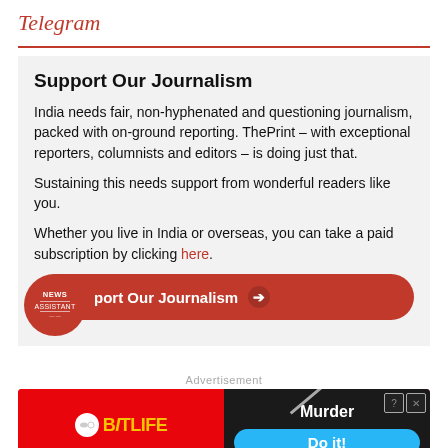Telegram
Support Our Journalism
India needs fair, non-hyphenated and questioning journalism, packed with on-ground reporting. ThePrint – with exceptional reporters, columnists and editors – is doing just that.
Sustaining this needs support from wonderful readers like you.
Whether you live in India or overseas, you can take a paid subscription by clicking here.
[Figure (other): News Assistant badge and Support Our Journalism button in red with arrow]
Advertisement
[Figure (other): BitLife Murder Do it! advertisement banner]